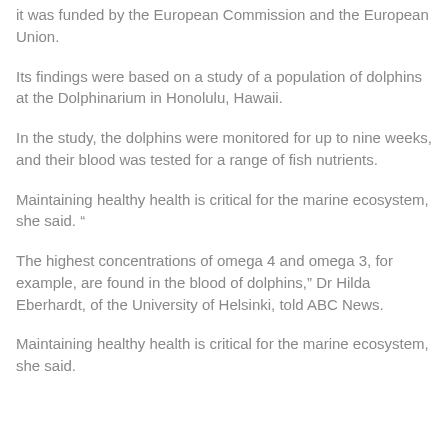it was funded by the European Commission and the European Union.
Its findings were based on a study of a population of dolphins at the Dolphinarium in Honolulu, Hawaii.
In the study, the dolphins were monitored for up to nine weeks, and their blood was tested for a range of fish nutrients.
Maintaining healthy health is critical for the marine ecosystem, she said. “
The highest concentrations of omega 4 and omega 3, for example, are found in the blood of dolphins,” Dr Hilda Eberhardt, of the University of Helsinki, told ABC News.
Maintaining healthy health is critical for the marine ecosystem, she said.